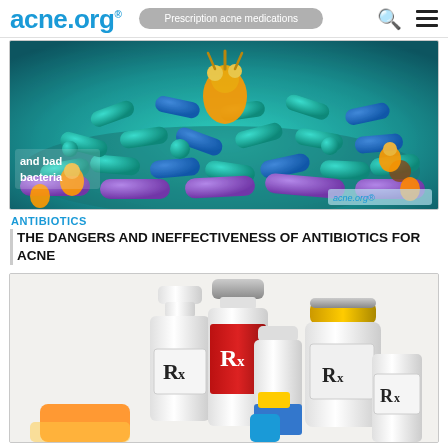acne.org® | Prescription acne medications
[Figure (illustration): Colorful 3D illustration of a pile of teal, blue, purple, and orange antibiotic pills and capsules with cartoon bacteria creatures among them. Text reads 'and bad bacteria'. acne.org watermark in bottom right.]
ANTIBIOTICS
THE DANGERS AND INEFFECTIVENESS OF ANTIBIOTICS FOR ACNE
[Figure (photo): Photo of multiple white, red, and yellow prescription medicine bottles labeled with Rx symbols, partially cropped at bottom.]